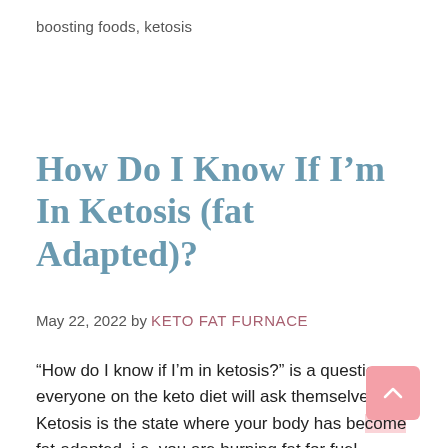boosting foods, ketosis
How Do I Know If I'm In Ketosis (fat Adapted)?
May 22, 2022 by KETO FAT FURNACE
“How do I know if I’m in ketosis?” is a question everyone on the keto diet will ask themselves. Ketosis is the state where your body has become fat-adapted, i.e. you are burning fat for fuel instead of sugar. Ketosis